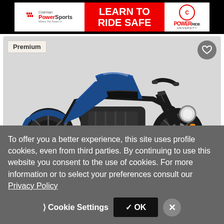[Figure (screenshot): Coleman PowerSports 'Learn to Ride Safe' banner advertisement with PowerRide University logo]
[Figure (photo): Blue Honda Rebel cruiser motorcycle listing card with Premium badge, heart/save button, Request Price overlay, image count showing 1 photo and 1 video]
No Price Listed
To offer you a better experience, this site uses profile cookies, even from third parties. By continuing to use this website you consent to the use of cookies. For more information or to select your preferences consult our Privacy Policy